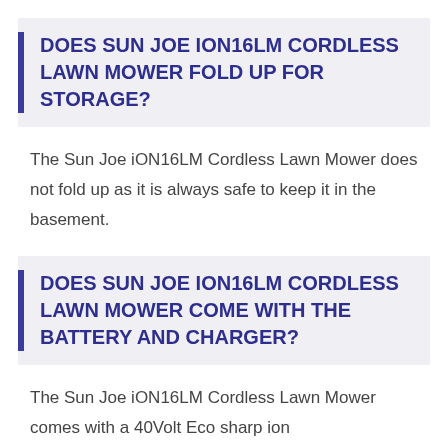DOES SUN JOE ION16LM CORDLESS LAWN MOWER FOLD UP FOR STORAGE?
The Sun Joe iON16LM Cordless Lawn Mower does not fold up as it is always safe to keep it in the basement.
DOES SUN JOE ION16LM CORDLESS LAWN MOWER COME WITH THE BATTERY AND CHARGER?
The Sun Joe iON16LM Cordless Lawn Mower comes with a 40Volt Eco sharp ion...